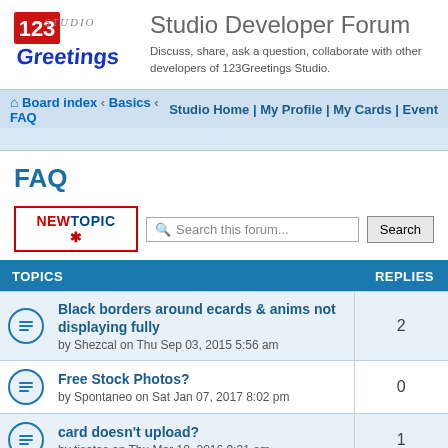[Figure (logo): 123Greetings Studio logo with red/blue text]
Studio Developer Forum
Discuss, share, ask a question, collaborate with other developers of 123Greetings Studio.
Board index › Basics › FAQ   Studio Home | My Profile | My Cards | Event
FAQ
TOPICS   REPLIES
Black borders around ecards & anims not displaying fully
by Shezcal on Thu Sep 03, 2015 5:56 am
Replies: 2
Free Stock Photos?
by Spontaneo on Sat Jan 07, 2017 8:02 pm
Replies: 0
card doesn't upload?
by tisetas on Thu Mar 10, 2016 9:31 am
Replies: 1
upload a photo
by GustavoWoltmann on Tue Feb 09, 2016 10:49 am
Replies: 2